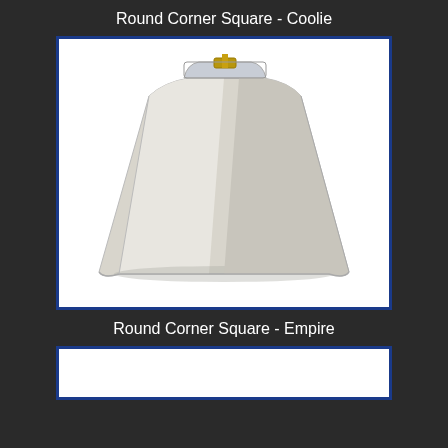Round Corner Square - Coolie
[Figure (photo): A white square coolie-style lamp shade with rounded corners, photographed against a white background. The shade tapers from a small square top to a wider square base, with a brass spider fitter visible at the top.]
Round Corner Square - Empire
[Figure (photo): Partial view of a white square empire-style lamp shade with rounded corners, photographed against a white background.]